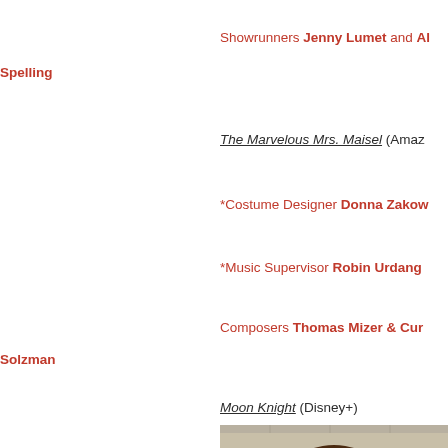Showrunners Jenny Lumet and Al Spelling
The Marvelous Mrs. Maisel (Amaz...
*Costume Designer Donna Zakow...
*Music Supervisor Robin Urdang...
Composers Thomas Mizer & Cur... Solzman
Moon Knight (Disney+)
[Figure (photo): A woman with curly brown and grey hair wearing dark-rimmed glasses, smiling slightly, photographed indoors]